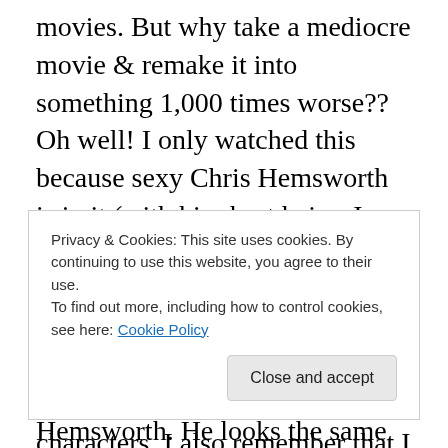movies. But why take a mediocre movie & remake it into something 1,000 times worse?? Oh well! I only watched this because sexy Chris Hemsworth is in it (with his short hair – I prefer him that way). I don't remember now who lives & who dies but I do remember completely losing interest and not giving a shit about any of the characters. I also remember that I watched this just after getting Netflix & they seemed to have a horrible selection back then (it's much better now) so I wasted too much time on shit like this & that stupid ATM movie. Speaking of which, that weird little Josh Peck was in that one as well. He had a
Privacy & Cookies: This site uses cookies. By continuing to use this website, you agree to their use.
To find out more, including how to control cookies, see here: Cookie Policy
Hemsworth. He looks the same in The Cabin in the